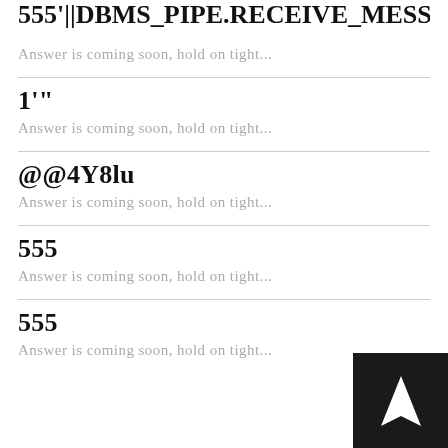555'||DBMS_PIPE.RECEIVE_MESSAGE
Answer is coming soon, hold on tight...
1'"
Answer is coming soon, hold on tight...
@@4Y8lu
Answer is coming soon, hold on tight...
555
Answer is coming soon, hold on tight...
555
Answer is coming soon, hold on tight...